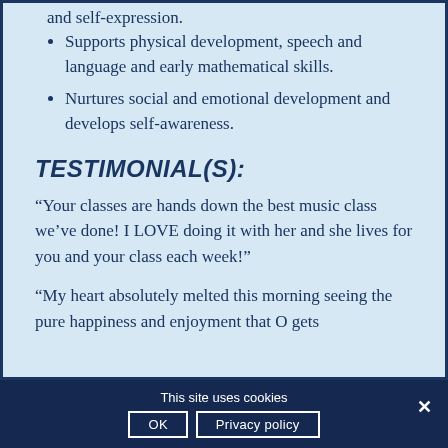and self-expression.
Supports physical development, speech and language and early mathematical skills.
Nurtures social and emotional development and develops self-awareness.
TESTIMONIAL(S):
“Your classes are hands down the best music class we’ve done! I LOVE doing it with her and she lives for you and your class each week!”
“My heart absolutely melted this morning seeing the pure happiness and enjoyment that O gets
This site uses cookies  OK  Privacy policy  ×